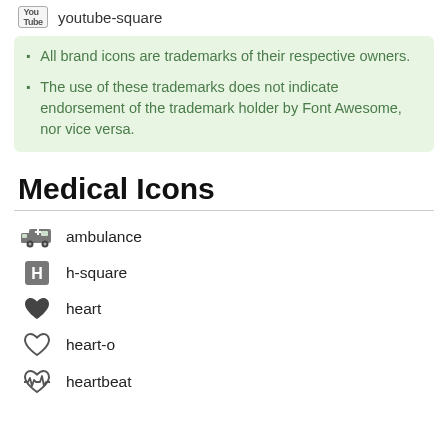youtube-square
All brand icons are trademarks of their respective owners.
The use of these trademarks does not indicate endorsement of the trademark holder by Font Awesome, nor vice versa.
Medical Icons
ambulance
h-square
heart
heart-o
heartbeat